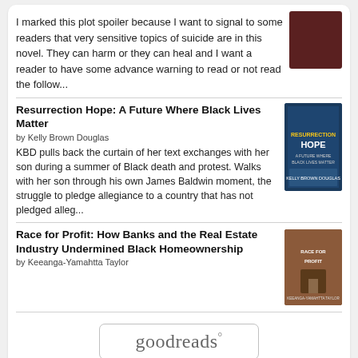I marked this plot spoiler because I want to signal to some readers that very sensitive topics of suicide are in this novel. They can harm or they can heal and I want a reader to have some advance warning to read or not read the follow...
Resurrection Hope: A Future Where Black Lives Matter
by Kelly Brown Douglas
KBD pulls back the curtain of her text exchanges with her son during a summer of Black death and protest. Walks with her son through his own James Baldwin moment, the struggle to pledge allegiance to a country that has not pledged alleg...
Race for Profit: How Banks and the Real Estate Industry Undermined Black Homeownership
by Keeanga-Yamahtta Taylor
[Figure (logo): Goodreads logo button with rounded rectangle border]